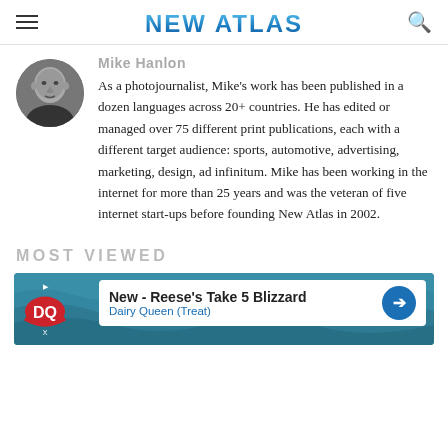NEW ATLAS
Mike Hanlon
[Figure (photo): Circular profile photo of Mike Hanlon, a bald man in a dark shirt, black and white photo]
As a photojournalist, Mike's work has been published in a dozen languages across 20+ countries. He has edited or managed over 75 different print publications, each with a different target audience: sports, automotive, advertising, marketing, design, ad infinitum. Mike has been working in the internet for more than 25 years and was the veteran of five internet start-ups before founding New Atlas in 2002.
MOST VIEWED
[Figure (screenshot): Advertisement banner for Dairy Queen - New Reese's Take 5 Blizzard, Dairy Queen (Treat)]